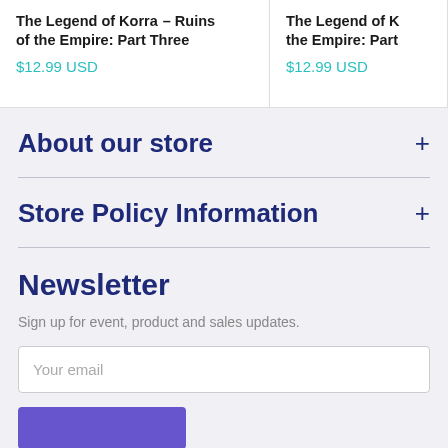The Legend of Korra – Ruins of the Empire: Part Three
$12.99 USD
The Legend of Korra – Ruins of the Empire: Part…
$12.99 USD
About our store
Store Policy Information
Newsletter
Sign up for event, product and sales updates.
Your email